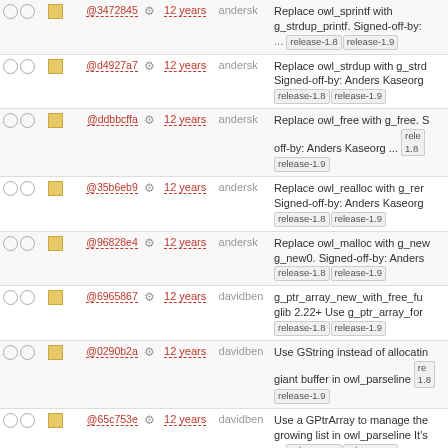|  |  | hash |  | age | author | message |
| --- | --- | --- | --- | --- | --- | --- |
| ○ ○ | □ | @3472845 | ⚙ | 12 years | andersk | Replace owl_sprintf with g_strdup_printf. Signed-off-by: ... release-1.8 release-1.9 |
| ○ ○ | □ | @d4927a7 | ⚙ | 12 years | andersk | Replace owl_strdup with g_strdup. Signed-off-by: Anders Kaseorg release-1.8 release-1.9 |
| ○ ○ | □ | @ddbbcffa | ⚙ | 12 years | andersk | Replace owl_free with g_free. Signed-off-by: Anders Kaseorg ... release-1.8 release-1.9 |
| ○ ○ | □ | @35b6eb9 | ⚙ | 12 years | andersk | Replace owl_realloc with g_realloc. Signed-off-by: Anders Kaseorg release-1.8 release-1.9 |
| ○ ○ | □ | @96828e4 | ⚙ | 12 years | andersk | Replace owl_malloc with g_new, g_new0. Signed-off-by: Anders release-1.8 release-1.9 |
| ○ ○ | □ | @6965867 | ⚙ | 12 years | davidben | g_ptr_array_new_with_free_func requires glib 2.22+ Use g_ptr_array_foreach release-1.8 release-1.9 |
| ○ ○ | □ | @0290b2a | ⚙ | 12 years | davidben | Use GString instead of allocating a giant buffer in owl_parseline release-1.8 release-1.9 |
| ○ ○ | □ | @65c753e | ⚙ | 12 years | davidben | Use a GPtrArray to manage the growing list in owl_parseline It's ... release-1.8 release-1.9 |
| ○ ○ | □ | @f47696f | ⚙ | 12 years | davidben | Add owl_string_appendf_quoted for easy construction of command release-1.8 release-1.9 |
| ○ ○ | □ | @2bc6ad35 | ⚙ | 12 years | davidben | Add owl_quote_arg and owl_string_append_quoted_arg add unit ... release-1.8 release-1.9 |
| ○ ○ | □ |  |  |  |  | Replace atokenize with glib's |